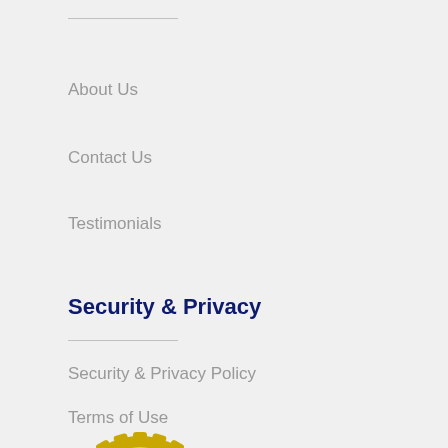About Us
Contact Us
Testimonials
Security & Privacy
Security & Privacy Policy
Terms of Use
[Figure (logo): Authorize.Net Verified Merchant badge with gold gear/sunburst border, blue Authorize.Net logo, and 'VERIFIED MERCHANT Click' text]